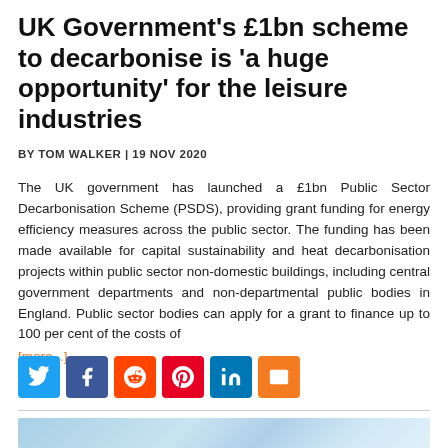UK Government's £1bn scheme to decarbonise is 'a huge opportunity' for the leisure industries
BY TOM WALKER | 19 NOV 2020
The UK government has launched a £1bn Public Sector Decarbonisation Scheme (PSDS), providing grant funding for energy efficiency measures across the public sector. The funding has been made available for capital sustainability and heat decarbonisation projects within public sector non-domestic buildings, including central government departments and non-departmental public bodies in England. Public sector bodies can apply for a grant to finance up to 100 per cent of the costs of [more...]
[Figure (other): Social media sharing buttons: Twitter, Facebook, Reddit, Pinterest, LinkedIn, Email]
[Figure (photo): Partial blue sky/abstract gradient image at bottom of page]